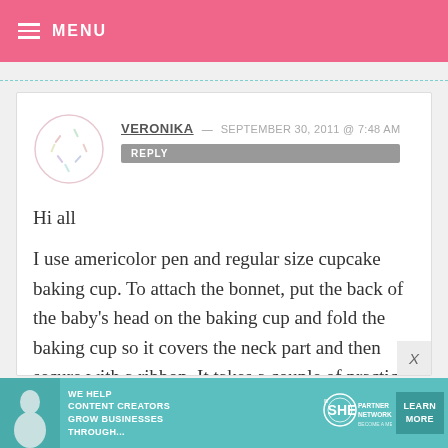MENU
VERONIKA — SEPTEMBER 30, 2011 @ 7:48 AM
REPLY
Hi all

I use americolor pen and regular size cupcake baking cup. To attach the bonnet, put the back of the baby's head on the baking cup and fold the baking cup so it covers the neck part and then secure with a ribbon. It takes a couple of practice to get it neat and tidy. :-)
[Figure (infographic): SHE Media partner network advertisement banner with woman at laptop, tagline 'WE HELP CONTENT CREATORS GROW BUSINESSES THROUGH...', SHE Partner Network logo, and LEARN MORE button]